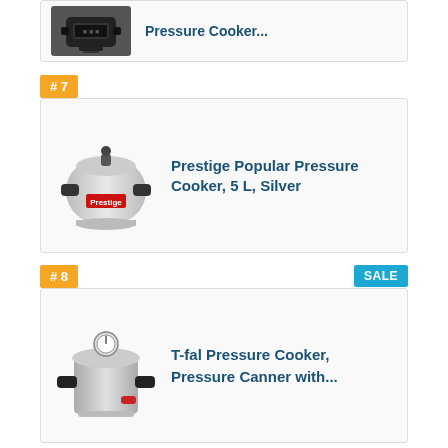[Figure (photo): Partial product card showing a black electric pressure cooker at the top of the page (cut off from above)]
# 7
[Figure (photo): Prestige Popular Pressure Cooker, silver aluminum stovetop pressure cooker with handles]
Prestige Popular Pressure Cooker, 5 L, Silver
# 8
SALE
[Figure (photo): T-fal Pressure Cooker, large aluminum stovetop pressure canner with gauge on lid]
T-fal Pressure Cooker, Pressure Canner with...
LATEST ITEMS
Hawkins Miss Mary Pressure Cooker Aluminum 7 Litres Silver Color Best Gift
Coffee 12-in-1 Multi-use Programmable Electric Pressure Cooker Non-stick Pot-